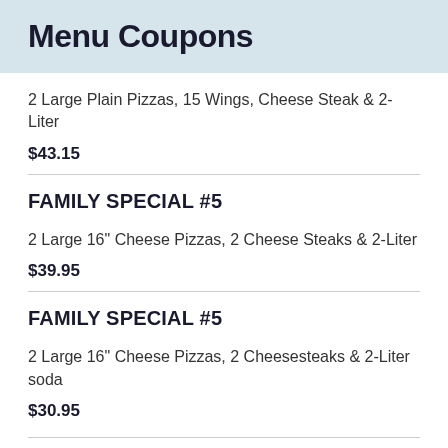Menu Coupons
2 Large Plain Pizzas, 15 Wings, Cheese Steak & 2-Liter
$43.15
FAMILY SPECIAL #5
2 Large 16" Cheese Pizzas, 2 Cheese Steaks & 2-Liter
$39.95
FAMILY SPECIAL #5
2 Large 16" Cheese Pizzas, 2 Cheesesteaks & 2-Liter soda
$30.95